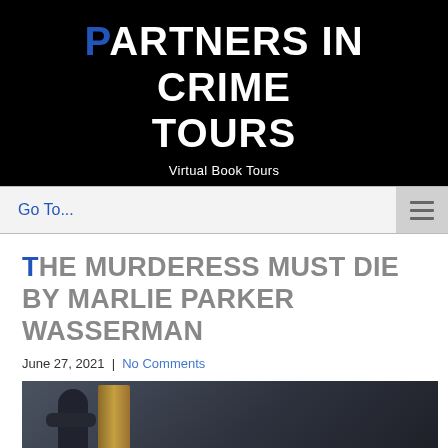PARTNERS IN CRIME TOURS
Virtual Book Tours
THE MURDERESS MUST DIE BY MARLIE PARKER WASSERMAN
June 27, 2021  |  No Comments
[Figure (photo): Book cover image for The Murderess Must Die showing a figure near a wooden post with the book title text in white italic serif font on a dark background]